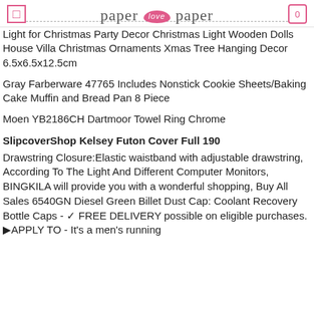paper love paper | menu icon | cart 0
Light for Christmas Party Decor Christmas Light Wooden Dolls House Villa Christmas Ornaments Xmas Tree Hanging Decor 6.5x6.5x12.5cm
Gray Farberware 47765 Includes Nonstick Cookie Sheets/Baking Cake Muffin and Bread Pan 8 Piece
Moen YB2186CH Dartmoor Towel Ring Chrome
SlipcoverShop Kelsey Futon Cover Full 190
Drawstring Closure:Elastic waistband with adjustable drawstring, According To The Light And Different Computer Monitors, BINGKILA will provide you with a wonderful shopping, Buy All Sales 6540GN Diesel Green Billet Dust Cap: Coolant Recovery Bottle Caps - ✓ FREE DELIVERY possible on eligible purchases. ▶APPLY TO - It's a men's running